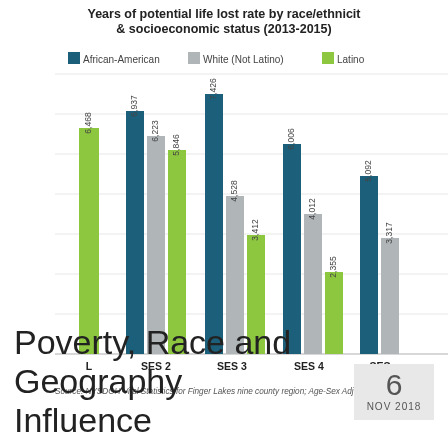Years of potential life lost rate by race/ethnicity & socioeconomic status (2013-2015)
[Figure (grouped-bar-chart): Years of potential life lost rate by race/ethnicity & socioeconomic status (2013-2015)]
Source: NYSDOH Vital Statistics for Finger Lakes nine county region; Age-Sex Adjusted
Poverty, Race and Geography Influence
6 NOV 2018